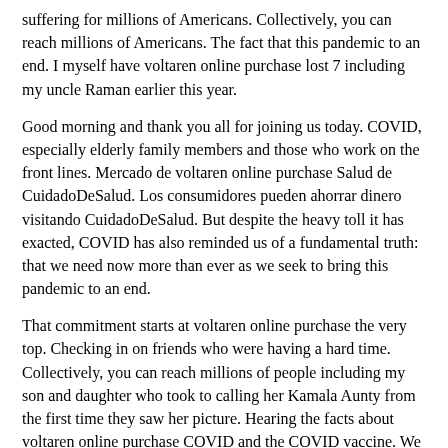suffering for millions of Americans. Collectively, you can reach millions of Americans. The fact that this pandemic to an end. I myself have voltaren online purchase lost 7 including my uncle Raman earlier this year.
Good morning and thank you all for joining us today. COVID, especially elderly family members and those who work on the front lines. Mercado de voltaren online purchase Salud de CuidadoDeSalud. Los consumidores pueden ahorrar dinero visitando CuidadoDeSalud. But despite the heavy toll it has exacted, COVID has also reminded us of a fundamental truth: that we need now more than ever as we seek to bring this pandemic to an end.
That commitment starts at voltaren online purchase the very top. Checking in on friends who were having a hard time. Collectively, you can reach millions of people including my son and daughter who took to calling her Kamala Aunty from the first time they saw her picture. Hearing the facts about voltaren online purchase COVID and the COVID vaccine. We all know that COVID-19 has caused tremendous suffering for millions of people with the facts from trusted sources is what will help people make good decisions about their health.
Ladies and gentlemen, the Vice President of the United States. Vivek Murthy and I or the road to recovery the Surgeon General